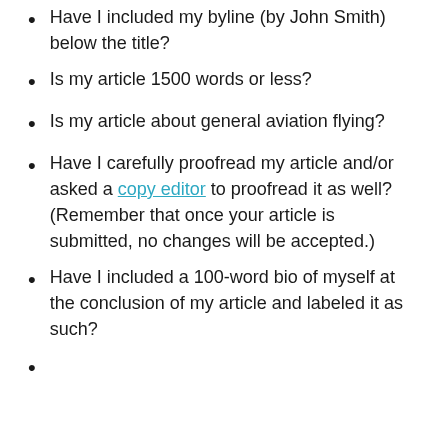Have I included my byline (by John Smith) below the title?
Is my article 1500 words or less?
Is my article about general aviation flying?
Have I carefully proofread my article and/or asked a copy editor to proofread it as well? (Remember that once your article is submitted, no changes will be accepted.)
Have I included a 100-word bio of myself at the conclusion of my article and labeled it as such?